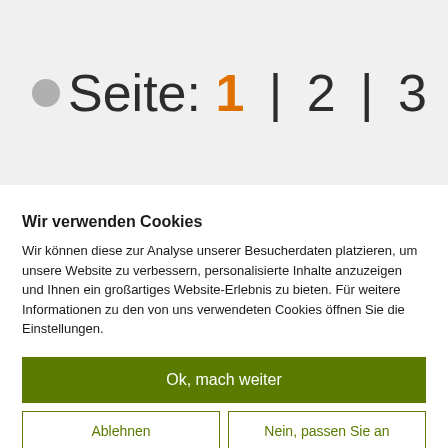Seite: 1 | 2 | 3 |
Wir verwenden Cookies
Wir können diese zur Analyse unserer Besucherdaten platzieren, um unsere Website zu verbessern, personalisierte Inhalte anzuzeigen und Ihnen ein großartiges Website-Erlebnis zu bieten. Für weitere Informationen zu den von uns verwendeten Cookies öffnen Sie die Einstellungen.
Ok, mach weiter
Ablehnen
Nein, passen Sie an